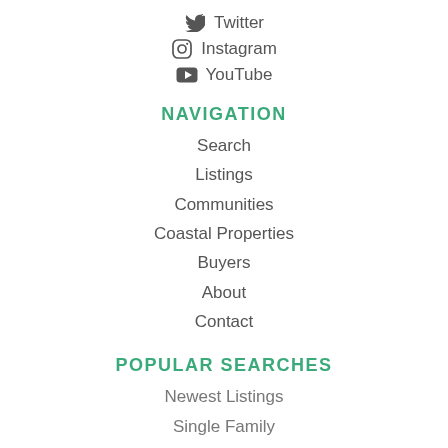Twitter
Instagram
YouTube
NAVIGATION
Search
Listings
Communities
Coastal Properties
Buyers
About
Contact
POPULAR SEARCHES
Newest Listings
Single Family
Condos & Townhomes